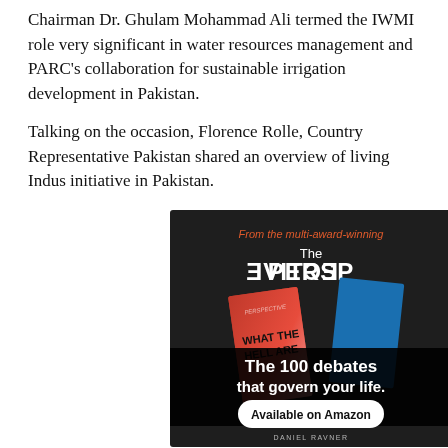Chairman Dr. Ghulam Mohammad Ali termed the IWMI role very significant in water resources management and PARC's collaboration for sustainable irrigation development in Pakistan.
Talking on the occasion, Florence Rolle, Country Representative Pakistan shared an overview of living Indus initiative in Pakistan.
[Figure (illustration): Advertisement for 'The Perspective' book — dark background with red text tagline 'From the multi-award-winning', white text 'The PERSPECTIVE' with mirrored letters, book covers shown (red and blue), black banner overlay with 'The 100 debates that govern your life.', white rounded button 'Available on Amazon', author name 'DANIEL RAVNER' at bottom.]